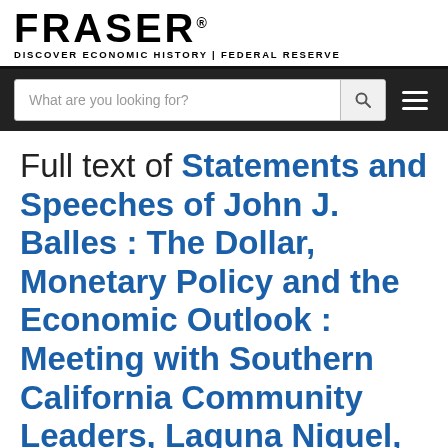FRASER DISCOVER ECONOMIC HISTORY | FEDERAL RESERVE
What are you looking for?
Full text of Statements and Speeches of John J. Balles : The Dollar, Monetary Policy and the Economic Outlook : Meeting with Southern California Community Leaders, Laguna Niguel, California